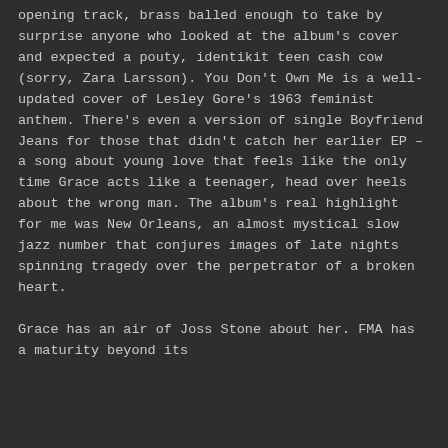opening track, brass balled enough to take by surprise anyone who looked at the album's cover and expected a pouty, identikit teen cash cow (sorry, Zara Larsson). You Don't Own Me is a well-updated cover of Lesley Gore's 1963 feminist anthem. There's even a version of single Boyfriend Jeans for those that didn't catch her earlier EP – a song about young love that feels like the only time Grace acts like a teenager, head over heels about the wrong man. The album's real highlight for me was New Orleans, an almost mystical slow jazz number that conjures images of late nights spinning tragedy over the perpetrator of a broken heart.
Grace has an air of Joss Stone about her. FMA has a maturity beyond its...